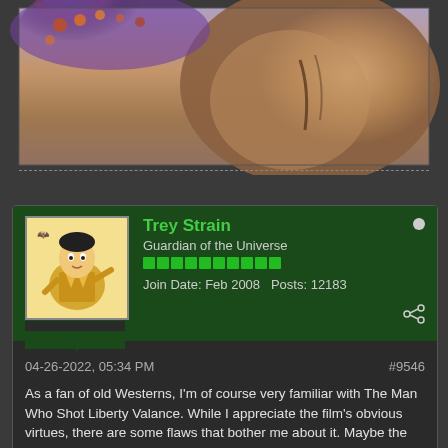[Figure (photo): Cropped photo showing what appears to be a person or character with colorful beaded costume and fur or hair, possibly a film or TV still]
Trey Strain
Guardian of the Universe
Join Date: Feb 2008   Posts: 12183
04-26-2022, 05:34 PM
#9546
As a fan of old Westerns, I'm of course very familiar with The Man Who Shot Liberty Valance. While I appreciate the film's obvious virtues, there are some flaws that bother me about it. Maybe the biggest one is that although Wayne and Stewart are great as always, at 58 and 54 respectively they're a good 25 years too old for their roles. At 33 Vera Miles could have been eight or ten years younger, but she wasn't nearly as miscast as Wayne and Stewart were.
Also the movie was shot as if it were a television episode of the time, 1962. It's in B&W, and no scene that could be shot on a soundstage was shot on